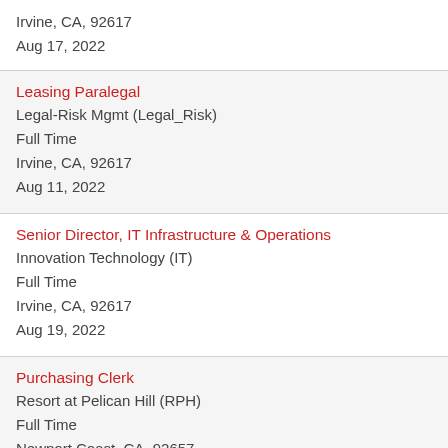Irvine, CA, 92617
Aug 17, 2022
Leasing Paralegal
Legal-Risk Mgmt (Legal_Risk)
Full Time
Irvine, CA, 92617
Aug 11, 2022
Senior Director, IT Infrastructure & Operations
Innovation Technology (IT)
Full Time
Irvine, CA, 92617
Aug 19, 2022
Purchasing Clerk
Resort at Pelican Hill (RPH)
Full Time
Newport Coast, CA, 92657
Aug 20, 2022